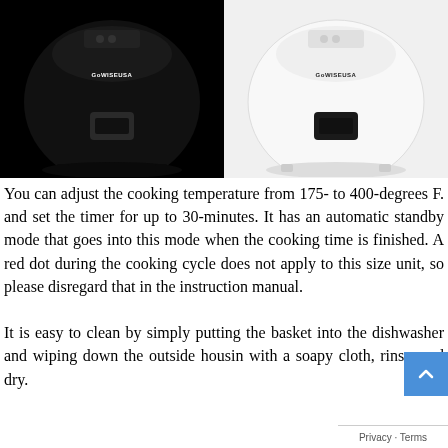[Figure (photo): Two GoWISE USA air fryers side by side: left unit is black, right unit is white. Both show the brand logo GoWISEUSA and a front-facing handle/basket.]
You can adjust the cooking temperature from 175- to 400-degrees F. and set the timer for up to 30-minutes. It has an automatic standby mode that goes into this mode when the cooking time is finished. A red dot during the cooking cycle does not apply to this size unit, so please disregard that in the instruction manual.
It is easy to clean by simply putting the basket into the dishwasher and wiping down the outside housing with a soapy cloth, rinse, and dry.